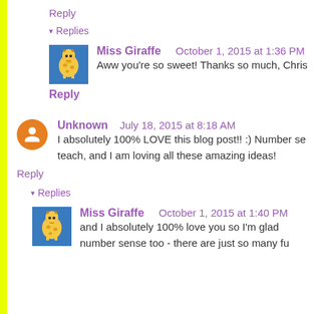Reply
▾ Replies
Miss Giraffe   October 1, 2015 at 1:36 PM
Aww you're so sweet! Thanks so much, Chris
Reply
Unknown   July 18, 2015 at 8:18 AM
I absolutely 100% LOVE this blog post!! :) Number se teach, and I am loving all these amazing ideas!
Reply
▾ Replies
Miss Giraffe   October 1, 2015 at 1:40 PM
and I absolutely 100% love you so I'm glad number sense too - there are just so many fu